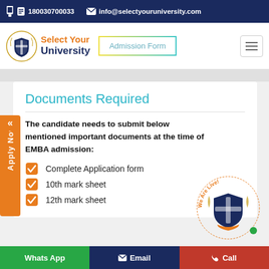180030700033   info@selectyouruniversity.com
[Figure (logo): Select Your University logo with shield emblem and orange/navy text]
Admission Form
Documents Required
The candidate needs to submit below mentioned important documents at the time of EMBA admission:
Complete Application form
10th mark sheet
12th mark sheet
Whats App   Email   Call